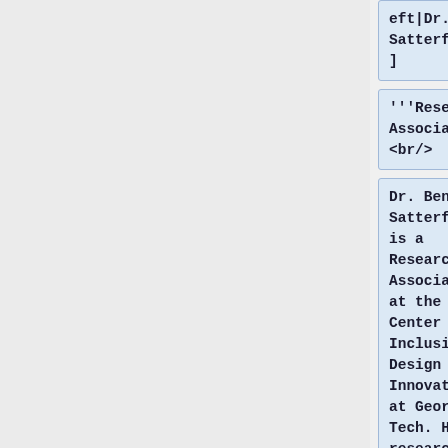eft|Dr. Ben Satterfield]]
'''Research Associate''' <br/>
Dr. Ben Satterfield is a Research Associate at the Center for Inclusive Design and Innovation at Georgia Tech. His research is focused on